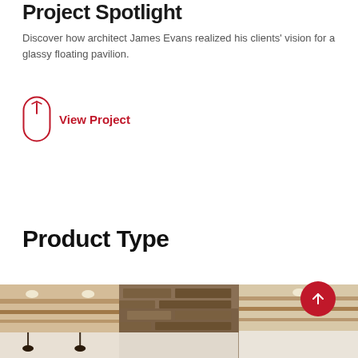Project Spotlight
Discover how architect James Evans realized his clients' vision for a glassy floating pavilion.
View Project
Product Type
[Figure (photo): Interior ceiling photo showing wooden beams and recessed lighting in a room]